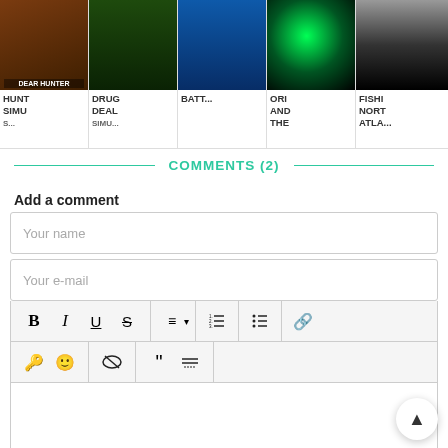[Figure (screenshot): Thumbnail strip showing 5 app/game covers: HUNT SIMU..., DRUG DEAL SIMU..., BATT..., ORI AND THE..., FISHI NORT ATLA...]
COMMENTS (2)
Add a comment
[Figure (screenshot): Comment form with Your name field, Your e-mail field, text editor toolbar with Bold, Italic, Underline, Strikethrough, Align, Ordered list, Unordered list, Link, Key, Emoji, Hide, Quote, HR buttons, and empty text area]